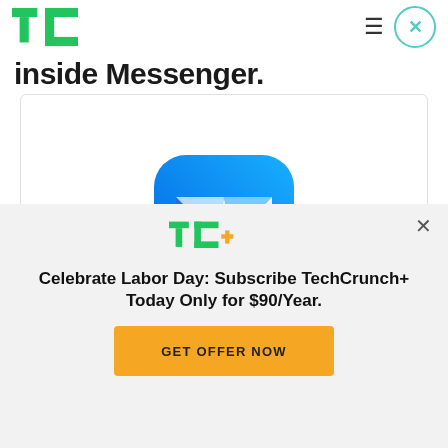TechCrunch
inside Messenger.
[Figure (logo): Facebook Messenger M logo — a stylized blue and cyan M icon on white background]
[Figure (logo): TC+ TechCrunch Plus logo in green and yellow]
Celebrate Labor Day: Subscribe TechCrunch+ Today Only for $90/Year.
GET OFFER NOW